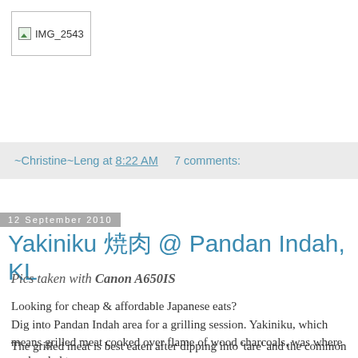[Figure (other): Broken image placeholder showing IMG_2543]
~Christine~Leng at 8:22 AM    7 comments:
12 September 2010
Yakiniku 焼肉 @ Pandan Indah, KL
Pics taken with Canon A650IS
Looking for cheap & affordable Japanese eats?
Dig into Pandan Indah area for a grilling session. Yakiniku, which means grilled meat cooked over flame of wood charcoals, was where we headed to.
The grilled meat is best eaten after dipping into 'tare' and the common sauce consist of Japanese soy sauce mixed with dashi, vinegar, etc.